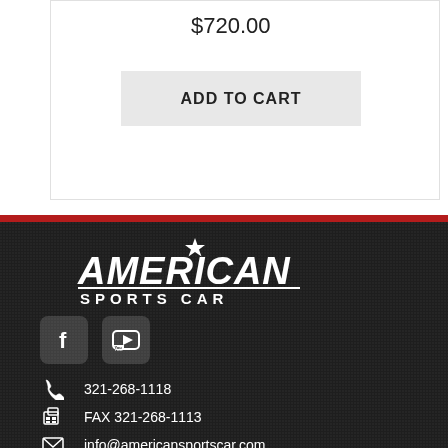$720.00
ADD TO CART
[Figure (logo): American Sports Car logo with star and italic text on dark background]
[Figure (illustration): Facebook and YouTube social media icons]
321-268-1118
FAX 321-268-1113
info@americansportscar.com
8:00 am - 5:00 pm | Monday - Friday